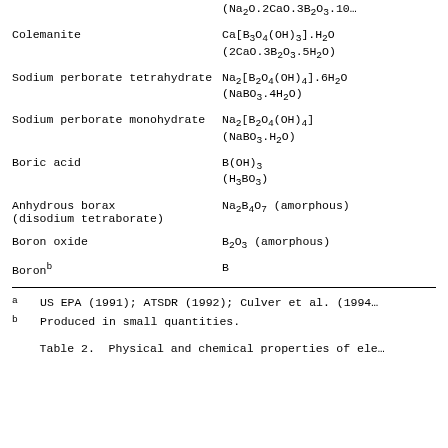| Mineral/Compound | Formula |
| --- | --- |
|  | (Na₂O.2CaO.3B₂O₃.10… |
| Colemanite | Ca[B₃O₄(OH)₃].H₂O
(2CaO.3B₂O₃.5H₂O) |
| Sodium perborate tetrahydrate | Na₂[B₂O₄(OH)₄].6H₂O
(NaBO₃.4H₂O) |
| Sodium perborate monohydrate | Na₂[B₂O₄(OH)₄]
(NaBO₃.H₂O) |
| Boric acid | B(OH)₃
(H₃BO₃) |
| Anhydrous borax
(disodium tetraborate) | Na₂B₄O₇ (amorphous) |
| Boron oxide | B₂O₃ (amorphous) |
| Boronᵇ | B |
a  US EPA (1991); ATSDR (1992); Culver et al. (1994…
b  Produced in small quantities.
Table 2.  Physical and chemical properties of ele…